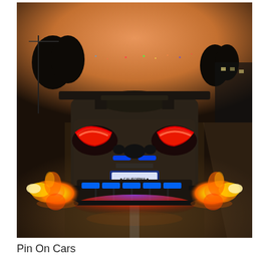[Figure (photo): Rear view of a McLaren supercar with California license plate 'MCNOTTY' shooting flames from both exhaust pipes on a road at dusk/twilight. The car has red arc-shaped taillights, blue LED accents on the rear diffuser, a large rear wing, and glowing blue-red underglow. Flames shoot outward from both sides. City lights and trees visible in background against an orange-tinted evening sky.]
Pin On Cars